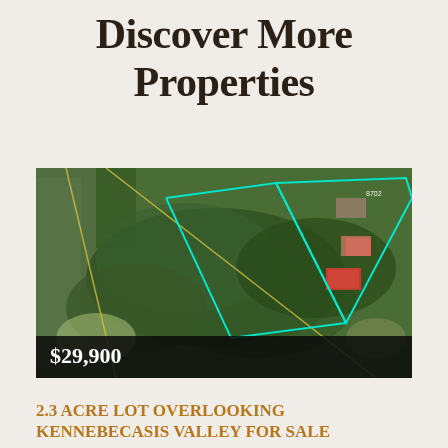Discover More Properties
[Figure (photo): Aerial satellite view of a 2.3 acre lot with cyan/teal property boundary lines overlaid, surrounded by trees and fields. A building/structure is visible in the upper right corner. Price overlay shows $29,900.]
2.3 ACRE LOT OVERLOOKING KENNEBECASIS VALLEY FOR SALE